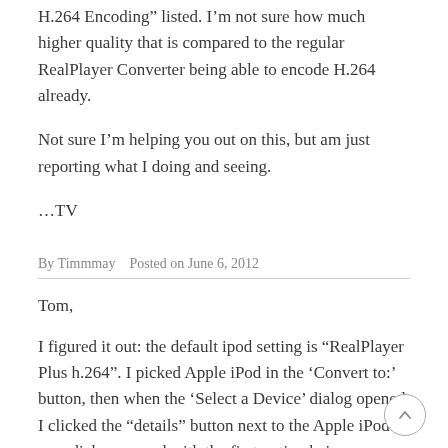H.264 Encoding” listed. I’m not sure how much higher quality that is compared to the regular RealPlayer Converter being able to encode H.264 already.
Not sure I’m helping you out on this, but am just reporting what I doing and seeing.
…TV
By Timmmay   Posted on June 6, 2012
Tom,
I figured it out: the default ipod setting is “RealPlayer Plus h.264”. I picked Apple iPod in the ‘Convert to:’ button, then when the ‘Select a Device’ dialog opened I clicked the “details” button next to the Apple iPod. A new dialog opened with the first option being ‘Format’. I